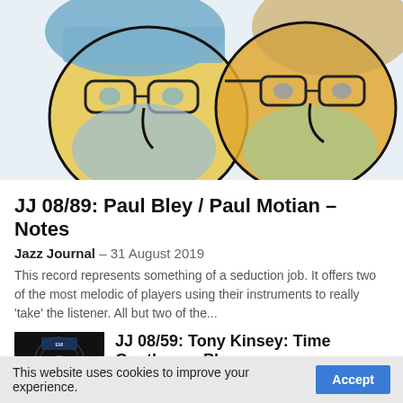[Figure (illustration): Watercolor illustration of two faces wearing glasses and hats, rendered in a loose, expressive style with blue, yellow, and green tones against a light background.]
JJ 08/89: Paul Bley / Paul Motian – Notes
Jazz Journal  –  31 August 2019
This record represents something of a seduction job. It offers two of the most melodic of players using their instruments to really 'take' the listener. All but two of the...
[Figure (photo): Small dark thumbnail image of an album cover for Tony Kinsey: Time Gentlemen Please]
JJ 08/59: Tony Kinsey: Time Gentlemen Please
This website uses cookies to improve your experience.